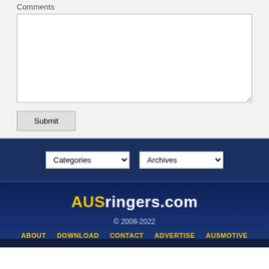Comments
[textarea]
Submit
Categories
Archives
AUSringers.com
© 2008-2022
ABOUT   DOWNLOAD   CONTACT   ADVERTISE   AUSMOTIVE